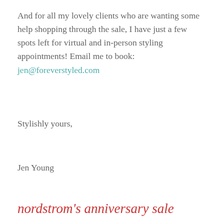And for all my lovely clients who are wanting some help shopping through the sale, I have just a few spots left for virtual and in-person styling appointments! Email me to book: jen@foreverstyled.com
Stylishly yours,
Jen Young
nordstrom's anniversary sale